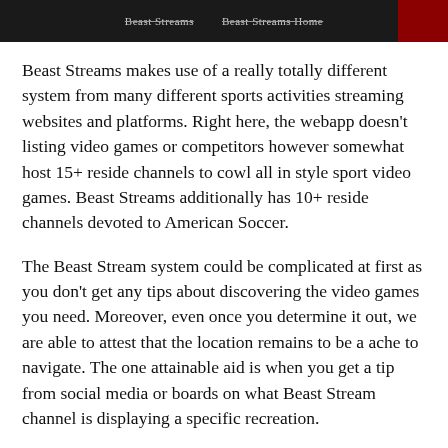Beast Streams   Beast Streams Home
Beast Streams makes use of a really totally different system from many different sports activities streaming websites and platforms. Right here, the webapp doesn’t listing video games or competitors however somewhat host 15+ reside channels to cowl all in style sport video games. Beast Streams additionally has 10+ reside channels devoted to American Soccer.
The Beast Stream system could be complicated at first as you don’t get any tips about discovering the video games you need. Moreover, even once you determine it out, we are able to attest that the location remains to be a ache to navigate. The one attainable aid is when you get a tip from social media or boards on what Beast Stream channel is displaying a specific recreation.
Nevertheless, the strongest go well with of the Beast Stream platform is the standard of their reside feeds. This platform affords high-quality HD sports activities streams, which